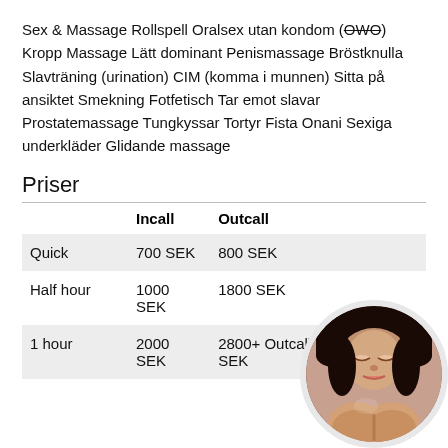Sex & Massage Rollspell Oralsex utan kondom (OWO) Kropp Massage Lätt dominant Penismassage Bröstknulla Slavträning (urination) CIM (komma i munnen) Sitta på ansiktet Smekning Fotfetisch Tar emot slavar Prostatemassage Tungkyssar Tortyr Fista Onani Sexiga underkläder Glidande massage
Priser
|  | Incall | Outcall |
| --- | --- | --- |
| Quick | 700 SEK | 800 SEK |
| Half hour | 1000 SEK | 1800 SEK |
| 1 hour | 2000 SEK | 2800+ Outcall tra fee(taxi) SEK |
[Figure (photo): Circular portrait photo of a woman with dark hair, partially visible in bottom right corner]